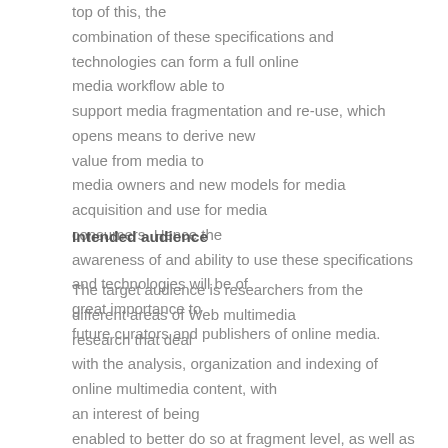top of this, the combination of these specifications and technologies can form a full online media workflow able to support media fragmentation and re-use, which opens means to derive new value from media to media owners and new models for media acquisition and use for media consumers. Hence the awareness of and ability to use these specifications and technologies will be of great importance to future curators and publishers of online media.
Intended audience
The target audience is researchers from the different areas of Web multimedia research that deal with the analysis, organization and indexing of online multimedia content, with an interest of being enabled to better do so at fragment level, as well as developers of novel applications for the re-use and re-mixing of media fragments which can be of benefit to media owners, providers and consumers. The participants of the tutorial will gain an insight into the current state-of-the-art of